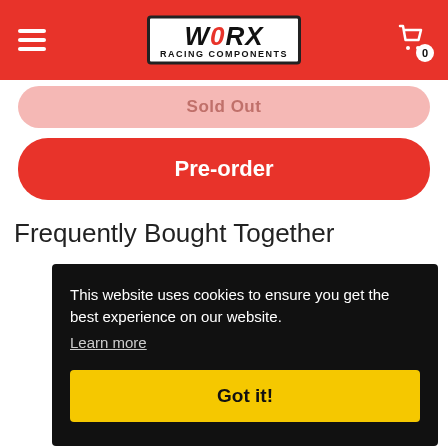[Figure (logo): WORX Racing Components logo in red and black on white background, inside nav header]
Sold Out
Pre-order
Frequently Bought Together
This website uses cookies to ensure you get the best experience on our website.
Learn more
Got it!